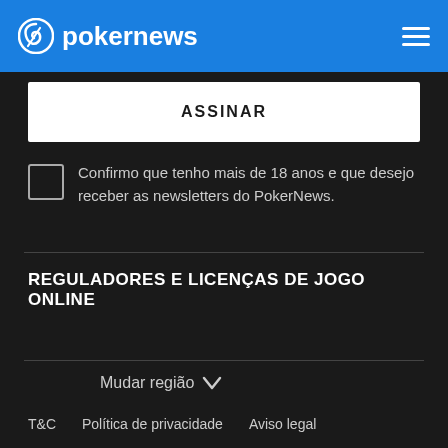pokernews
ASSINAR
Confirmo que tenho mais de 18 anos e que desejo receber as newsletters do PokerNews.
REGULADORES E LICENÇAS DE JOGO ONLINE
Mudar região
T&C  Política de privacidade  Aviso legal